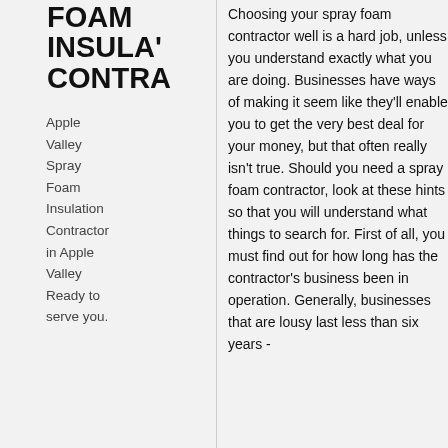FOAM INSULATION CONTRACTOR
Apple Valley Spray Foam Insulation Contractor in Apple Valley Ready to serve you.
Choosing your spray foam contractor well is a hard job, unless you understand exactly what you are doing. Businesses have ways of making it seem like they'll enable you to get the very best deal for your money, but that often really isn't true. Should you need a spray foam contractor, look at these hints so that you will understand what things to search for. First of all, you must find out for how long has the contractor's business been in operation. Generally, businesses that are lousy last less than six years -
APPLE VALLEY CONTRACTOR ROOF INSULATION
Apple